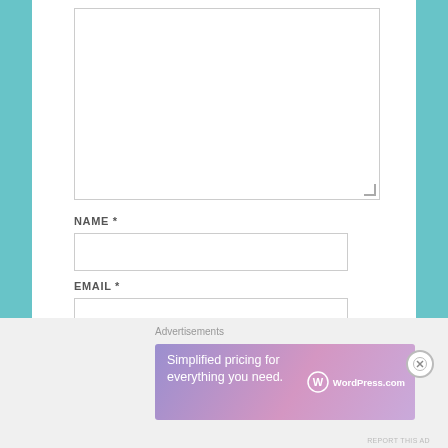[Figure (screenshot): A web form with a large comment textarea, NAME and EMAIL required fields, and WEBSITE field, set in a white content area with teal side bars.]
NAME *
EMAIL *
WEBSITE
[Figure (infographic): WordPress.com advertisement banner with text 'Simplified pricing for everything you need.' and WordPress.com logo. Gradient background from purple to pink.]
Advertisements
REPORT THIS AD